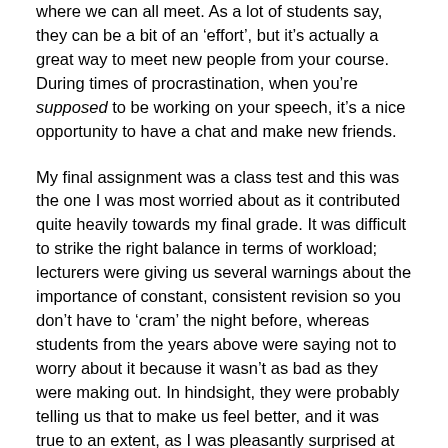where we can all meet. As a lot of students say, they can be a bit of an ‘effort’, but it’s actually a great way to meet new people from your course. During times of procrastination, when you’re supposed to be working on your speech, it’s a nice opportunity to have a chat and make new friends.
My final assignment was a class test and this was the one I was most worried about as it contributed quite heavily towards my final grade. It was difficult to strike the right balance in terms of workload; lecturers were giving us several warnings about the importance of constant, consistent revision so you don’t have to ‘cram’ the night before, whereas students from the years above were saying not to worry about it because it wasn’t as bad as they were making out. In hindsight, they were probably telling us that to make us feel better, and it was true to an extent, as I was pleasantly surprised at how well it went. It